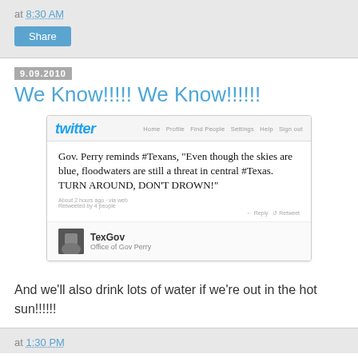at 8:30 AM
Share
9.09.2010
We Know!!!!! We Know!!!!!!
[Figure (screenshot): Screenshot of a Twitter post by TexGov (Office of Gov Perry) reading: Gov. Perry reminds #Texans, "Even though the skies are blue, floodwaters are still a threat in central #Texas. TURN AROUND, DON'T DROWN!"]
And we'll also drink lots of water if we're out in the hot sun!!!!!!
at 1:30 PM